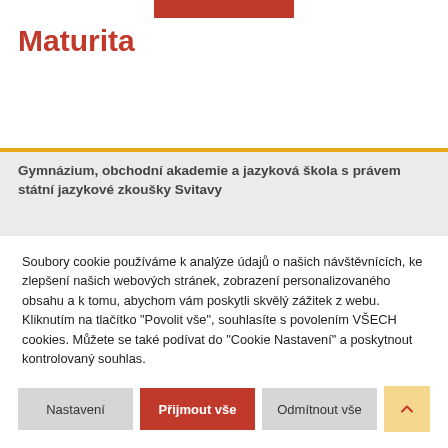[Figure (other): Red button/bar at the top of the page]
Maturita
Gymnázium, obchodní akademie a jazyková škola s právem státní jazykové zkoušky Svitavy
Soubory cookie používáme k analýze údajů o našich návštěvnících, ke zlepšení našich webových stránek, zobrazení personalizovaného obsahu a k tomu, abychom vám poskytli skvělý zážitek z webu. Kliknutím na tlačítko "Povolit vše", souhlasíte s povolením VŠECH cookies. Můžete se také podívat do "Cookie Nastavení" a poskytnout kontrolovaný souhlas.
Nastavení | Přijmout vše | Odmítnout vše